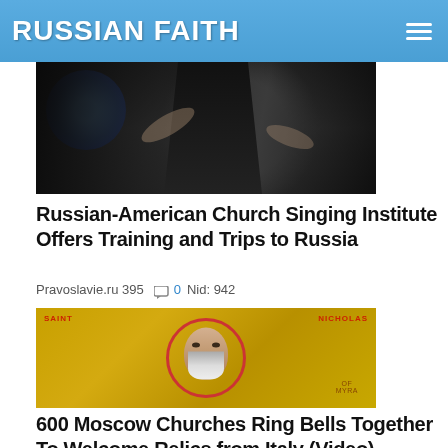RUSSIAN FAITH
[Figure (photo): A person dressed in black standing in front of a blue stained glass window, gesturing with hands]
Russian-American Church Singing Institute Offers Training and Trips to Russia
Pravoslavie.ru 395  0 Nid: 942
[Figure (photo): Orthodox icon of Saint Nicholas of Myra with golden background, halo, and vestments]
600 Moscow Churches Ring Bells Together To Welcome Relics from Italy (Video)